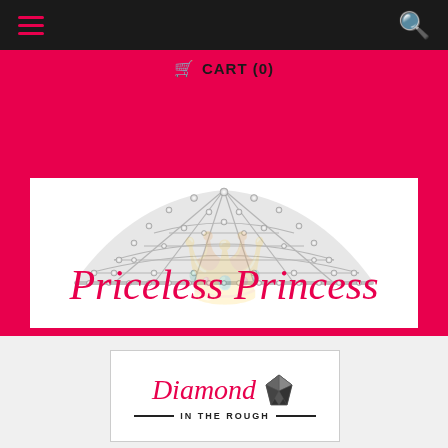Navigation bar with hamburger menu and search icon
CART (0)
[Figure (logo): Priceless Princess logo with rhinestone tiara crown above pink cursive script text reading 'Priceless Princess' on a white background with hot pink border frame]
[Figure (logo): Diamond in the Rough logo with pink italic cursive word 'Diamond' alongside a diamond gem icon, and 'IN THE ROUGH' in small caps with lines on either side, on a white card with light border]